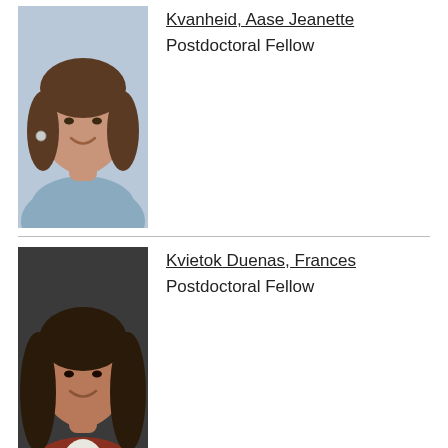[Figure (photo): Headshot photo of Kvanheid, Aase Jeanette, young woman with shoulder-length brown hair, smiling, wearing a blue-grey top]
Kvanheid, Aase Jeanette
Postdoctoral Fellow
[Figure (photo): Headshot photo of Kvietok Duenas, Frances, woman with long dark hair, smiling, wearing a patterned blazer]
Kvietok Duenas, Frances
Postdoctoral Fellow
Lane, Pia
Professor